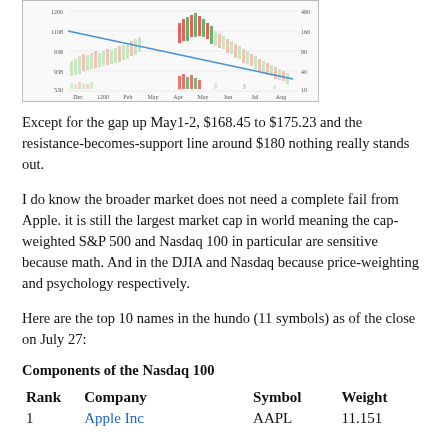[Figure (continuous-plot): Stock price chart showing candlestick/OHLC data with a downward-sloping resistance-becomes-support trendline, price range labels on left (1200, 1108, 938, 938, 530), time axis labels (Dec, 1200, Feb, May, Apr, May, Jun, Jul, Aug), with green and red candlestick bars and a blue diagonal trendline.]
Except for the gap up May1-2, $168.45 to $175.23 and the resistance-becomes-support line around $180 nothing really stands out.
I do know the broader market does not need a complete fail from Apple. it is still the largest market cap in world meaning the cap-weighted S&P 500 and Nasdaq 100 in particular are sensitive because math. And in the DJIA and Nasdaq because price-weighting and psychology respectively.
Here are the top 10 names in the hundo (11 symbols) as of the close on July 27:
Components of the Nasdaq 100
| Rank | Company | Symbol | Weight |
| --- | --- | --- | --- |
| 1 | Apple Inc | AAPL | 11.151 |